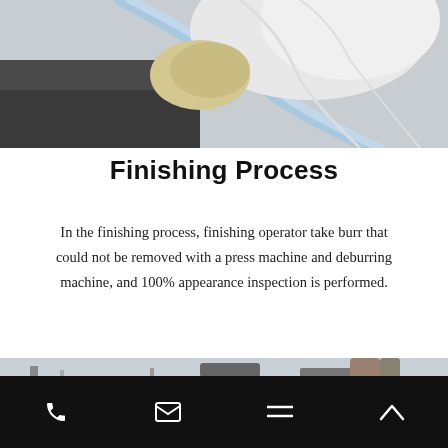[Figure (photo): Close-up photo of a worker in white protective clothing and gloved hand working on a metal surface, finishing process]
Finishing Process
In the finishing process, finishing operator take burr that could not be removed with a press machine and deburring machine, and 100% appearance inspection is performed.
[Figure (photo): Industrial facility interior showing large blue machinery/compressors with ventilation grilles, pipes and ductwork visible on ceiling]
Phone | Email | Menu | Up navigation icons